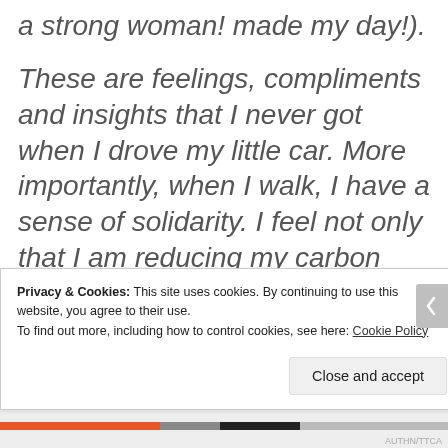a strong woman! made my day!).
These are feelings, compliments and insights that I never got when I drove my little car. More importantly, when I walk, I have a sense of solidarity. I feel not only that I am reducing my carbon impact, but also that I am sharing
Privacy & Cookies: This site uses cookies. By continuing to use this website, you agree to their use.
To find out more, including how to control cookies, see here: Cookie Policy
Close and accept